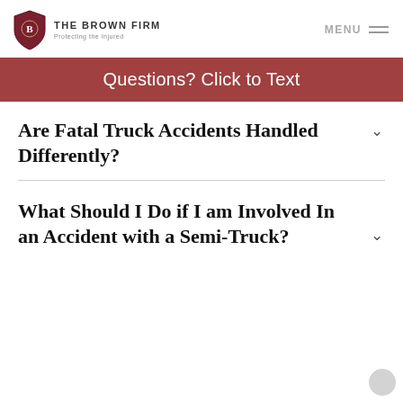THE BROWN FIRM — Protecting the Injured | MENU
Questions? Click to Text
Are Fatal Truck Accidents Handled Differently?
What Should I Do if I am Involved In an Accident with a Semi-Truck?